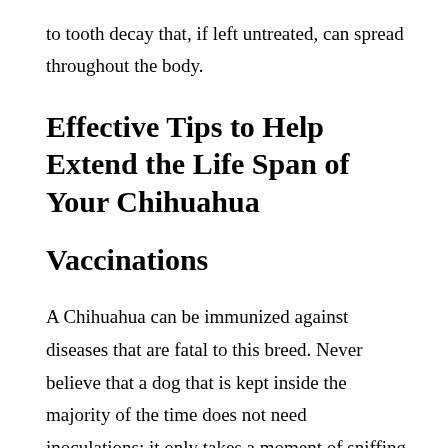to tooth decay that, if left untreated, can spread throughout the body.
Effective Tips to Help Extend the Life Span of Your Chihuahua
Vaccinations
A Chihuahua can be immunized against diseases that are fatal to this breed. Never believe that a dog that is kept inside the majority of the time does not need inoculations; it only takes a moment of sniffing infected urine or a brief period of